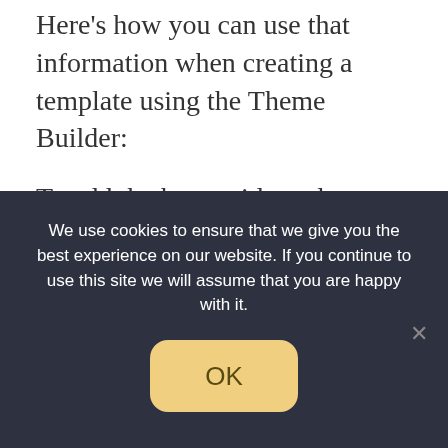Here's how you can use that information when creating a template using the Theme Builder:
To add the house title and description from the native WordPress editor, you could use the regular Post Title and Post Content widgets that come with Theme Builder.
But what about those custom fields?
To insert them, you could add a regular Text Editor. Then, in the text editor, you click the Dynamic
We use cookies to ensure that we give you the best experience on our website. If you continue to use this site we will assume that you are happy with it.
OK